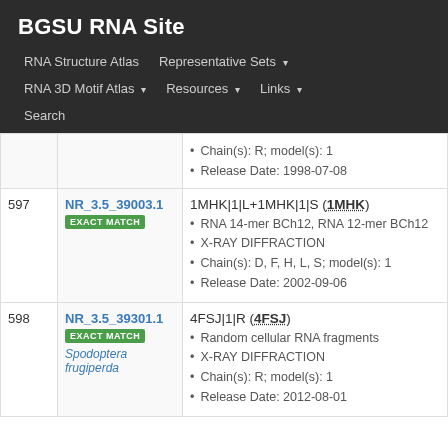BGSU RNA Site
RNA Structure Atlas | Representative Sets ▾ | RNA 3D Motif Atlas ▾ | Resources ▾ | Links ▾ | Search
| # | ID | Details |
| --- | --- | --- |
|  |  | Chain(s): R; model(s): 1
Release Date: 1998-07-08 |
| 597 | NR_3.5_39003.1
EXACT MATCH | 1MHK|1|L+1MHK|1|S (1MHK)
RNA 14-mer BCh12, RNA 12-mer BCh12
X-RAY DIFFRACTION
Chain(s): D, F, H, L, S; model(s): 1
Release Date: 2002-09-06 |
| 598 | NR_3.5_39301.1
EXACT MATCH
Spodoptera frugiperda | 4FSJ|1|R (4FSJ)
Random cellular RNA fragments
X-RAY DIFFRACTION
Chain(s): R; model(s): 1
Release Date: 2012-08-01 |